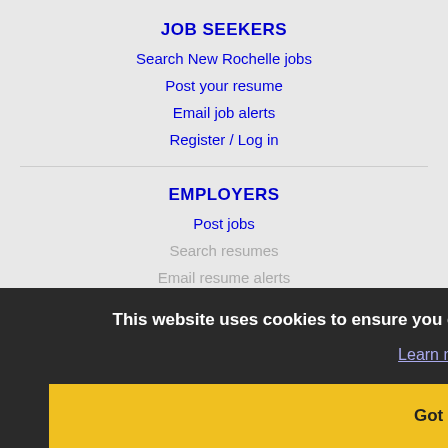JOB SEEKERS
Search New Rochelle jobs
Post your resume
Email job alerts
Register / Log in
EMPLOYERS
Post jobs
Search resumes
Email resume alerts
Advertise
IMMIGRATION SPECIALISTS
Post jobs
Immigration FAQs
This website uses cookies to ensure you get the best experience on our website.
Learn more
Got it!